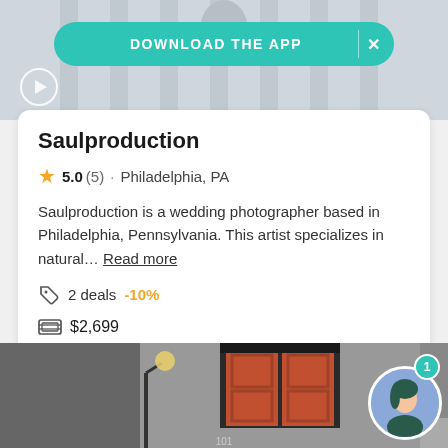[Figure (photo): Top portion of page showing a venue/building photo with columns, with a teal download app banner overlay and a play button]
Saulproduction
5.0 (5) · Philadelphia, PA
Saulproduction is a wedding photographer based in Philadelphia, Pennsylvania. This artist specializes in natural… Read more
2 deals  -10%
$2,699
Request pricing
[Figure (photo): Bottom photo showing a building entrance with orange/red double doors, decorative ironwork above, and a street lamp on the left. A circular avatar chat bubble with notification badge '1' is visible in the bottom right.]